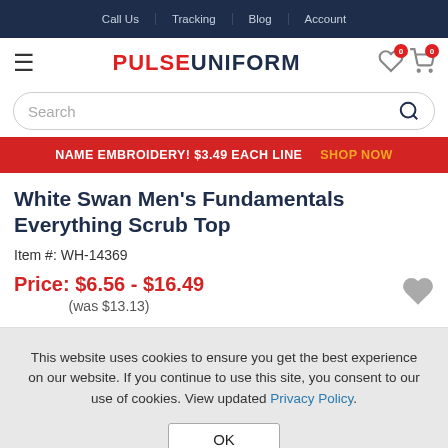Call Us | Tracking | Blog | Account
[Figure (logo): PULSE UNIFORM logo with hamburger menu, wishlist and cart icons]
Search
NAME EMBROIDERY! $3.49 EACH LINE   SHOP NOW
White Swan Men's Fundamentals Everything Scrub Top
Item #: WH-14369
Price: $6.56 - $16.49
(was $13.13)
This website uses cookies to ensure you get the best experience on our website. If you continue to use this site, you consent to our use of cookies. View updated Privacy Policy.
OK